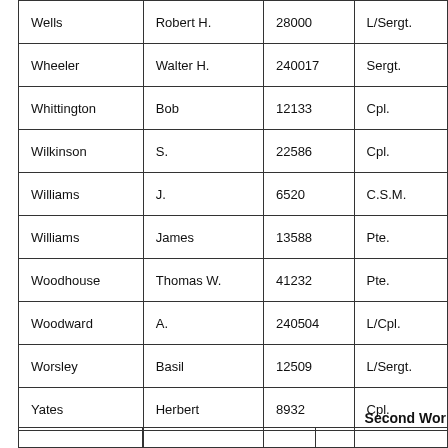| Wells | Robert H. | 28000 | L/Sergt. |
| Wheeler | Walter H. | 240017 | Sergt. |
| Whittington | Bob | 12133 | Cpl. |
| Wilkinson | S. | 22586 | Cpl. |
| Williams | J. | 6520 | C.S.M. |
| Williams | James | 13588 | Pte. |
| Woodhouse | Thomas W. | 41232 | Pte. |
| Woodward | A. | 240504 | L/Cpl. |
| Worsley | Basil | 12509 | L/Sergt. |
| Yates | Herbert | 8932 | Cpl. |
| " " - bar | Herbert | 8932 | Sergt. |
| Yeates | Frank | 48076 | C.S.M. |
| Young | James D. | 19369 | Sergt. |
Second Wor
|  |